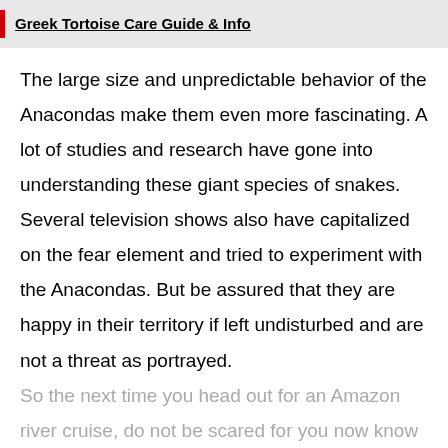Greek Tortoise Care Guide & Info
The large size and unpredictable behavior of the Anacondas make them even more fascinating. A lot of studies and research have gone into understanding these giant species of snakes. Several television shows also have capitalized on the fear element and tried to experiment with the Anacondas. But be assured that they are happy in their territory if left undisturbed and are not a threat as portrayed.
So the next time you head out for an Amazon river cruise, do not be scared for you now know